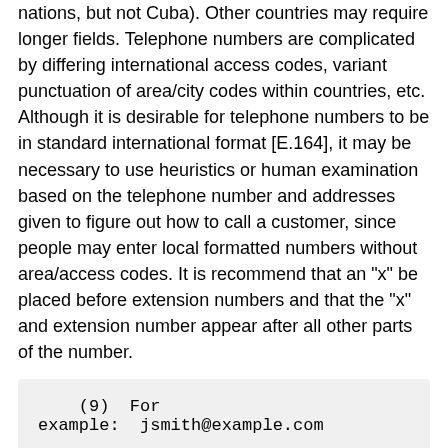nations, but not Cuba). Other countries may require longer fields. Telephone numbers are complicated by differing international access codes, variant punctuation of area/city codes within countries, etc. Although it is desirable for telephone numbers to be in standard international format [E.164], it may be necessary to use heuristics or human examination based on the telephone number and addresses given to figure out how to call a customer, since people may enter local formatted numbers without area/access codes. It is recommend that an "x" be placed before extension numbers and that the "x" and extension number appear after all other parts of the number.
(9)  For example:  jsmith@example.com
(10) The name of the cardholder as it appears on the card.
(11) Case insensitive. Use up to the first 4 letters of the association name (see also Note 102):